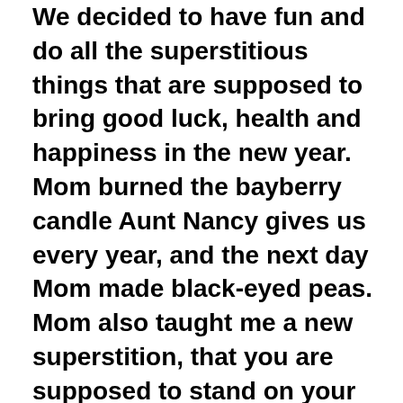We decided to have fun and do all the superstitious things that are supposed to bring good luck, health and happiness in the new year. Mom burned the bayberry candle Aunt Nancy gives us every year, and the next day Mom made black-eyed peas. Mom also taught me a new superstition, that you are supposed to stand on your right foot at the stroke of midnight to start the new year off on the right foot, except that Mom and I both have terrible balance and almost fell on our faces! But at the stroke of midnight, we were both laughing, so I would think that in itself should bring good luck this upcoming year. On New Year's Day, Mom and I watched the Rose Parade which we were thrilled to see wasn't cancelled again, despite the Omicron surge. In the afternoon, we played two games of Scrabble. Mom won the first one, and I won the second